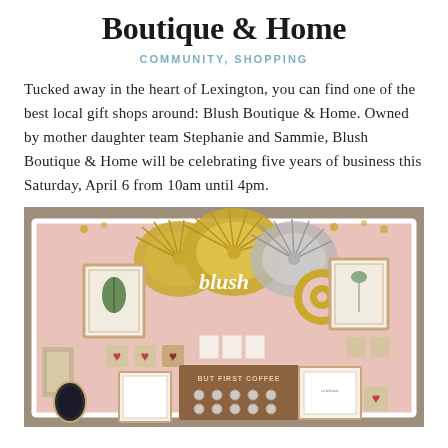Boutique & Home
COMMUNITY, SHOPPING
Tucked away in the heart of Lexington, you can find one of the best local gift shops around: Blush Boutique & Home. Owned by mother daughter team Stephanie and Sammie, Blush Boutique & Home will be celebrating five years of business this Saturday, April 6 from 10am until 4pm.
[Figure (photo): Interior display wall of Blush Boutique & Home shop showing pink wall with gold paper fan decorations, 'blush' script sign, framed artwork, heart decorations, and a 'But First Coffee' mug display board with hanging mugs.]